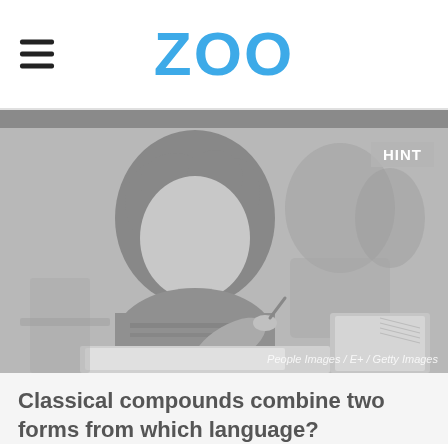ZOO
[Figure (photo): Grayscale photo of a young woman with curly hair writing at a school desk, other students visible in background. Caption reads: People Images / E+ / Getty Images. Badge in upper right reads: HINT]
Classical compounds combine two forms from which language?